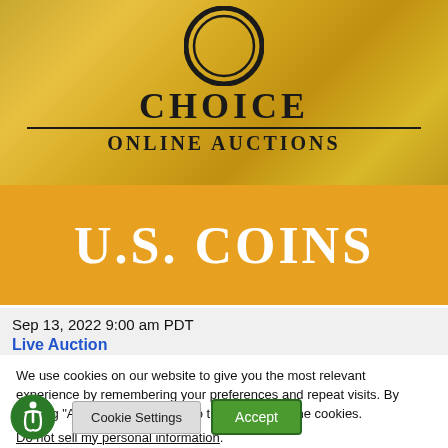[Figure (logo): Choice Online Auctions logo with circular emblem at top, bold CHOICE text, horizontal divider, and ONLINE AUCTIONS text on gold/metallic textured background]
U.S. COINS
Sep 13, 2022 9:00 am PDT
Live Auction
We use cookies on our website to give you the most relevant experience by remembering your preferences and repeat visits. By clicking “Accept”, you consent to the use of ALL the cookies.
Do not sell my personal information.